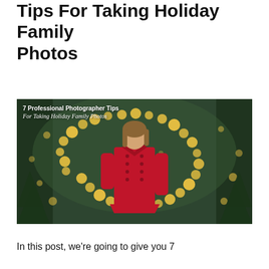Tips For Taking Holiday Family Photos
[Figure (photo): A young girl in a red coat standing outdoors in front of a large circular bokeh light display made of golden lights, with evergreen trees on either side. Overlay text reads: '7 Professional Photographer Tips / For Taking Holiday Family Photos']
In this post, we're going to give you 7